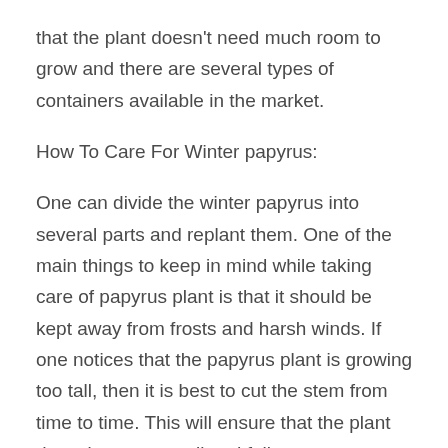that the plant doesn't need much room to grow and there are several types of containers available in the market.
How To Care For Winter papyrus:
One can divide the winter papyrus into several parts and replant them. One of the main things to keep in mind while taking care of papyrus plant is that it should be kept away from frosts and harsh winds. If one notices that the papyrus plant is growing too tall, then it is best to cut the stem from time to time. This will ensure that the plant doesn't grow too tall and fall over.
How To Take Cuttings: